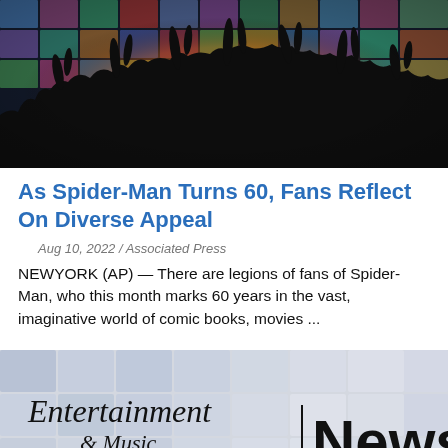[Figure (photo): Crowd of people with hands raised in front of a large wall of glowing screens, silhouetted against warm orange/golden backlight]
As Spider-Man Turns 60, Fans Reflect On Diverse Appeal
Aug 10, 2022 / Associated Press
NEWYORK (AP) — There are legions of fans of Spider-Man, who this month marks 60 years in the vast, imaginative world of comic books, movies ...
[Figure (logo): Entertainment & Music News logo with text on a blurred screen wall background]